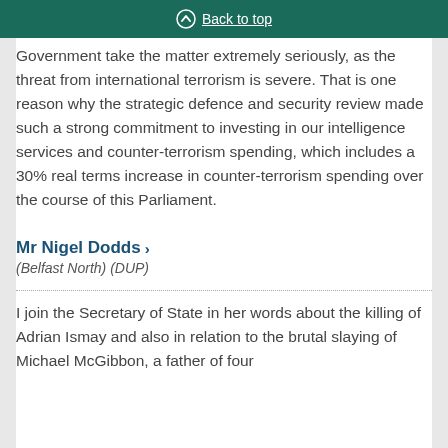Back to top
Government take the matter extremely seriously, as the threat from international terrorism is severe. That is one reason why the strategic defence and security review made such a strong commitment to investing in our intelligence services and counter-terrorism spending, which includes a 30% real terms increase in counter-terrorism spending over the course of this Parliament.
Mr Nigel Dodds
(Belfast North) (DUP)
I join the Secretary of State in her words about the killing of Adrian Ismay and also in relation to the brutal slaying of Michael McGibbon, a father of four